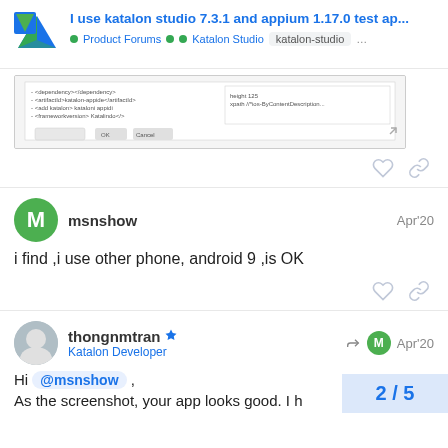I use katalon studio 7.3.1 and appium 1.17.0 test ap... • Product Forums • Katalon Studio katalon-studio ...
[Figure (screenshot): Screenshot of a dialog or configuration window in Katalon Studio]
msnshow Apr'20
i find ,i use other phone, android 9 ,is OK
thongnmtran Katalon Developer Apr'20
Hi @msnshow ,
As the screenshot, your app looks good. I h
2 / 5